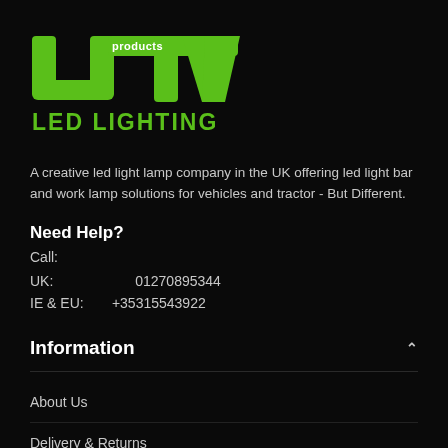[Figure (logo): UTV Products LED Lighting logo — green block letters 'UTV' with 'products' in smaller text, and 'LED LIGHTING' in green below]
A creative led light lamp company in the UK offering led light bar and work lamp solutions for vehicles and tractor - But Different.
Need Help?
Call:
UK:          01270895344
IE & EU:  +35315543922
Information
About Us
Delivery & Returns
Privacy Policy